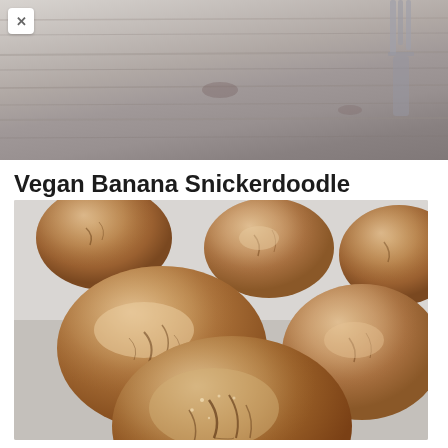[Figure (photo): Top portion of a photo showing a rustic gray/white distressed wooden surface with what appears to be a fork or utensil visible at the top right]
Vegan Banana Snickerdoodle Cookies
[Figure (photo): Close-up photo of multiple round snickerdoodle cookies on a white parchment-lined surface, coated with cinnamon sugar, showing crackled tops. The nearest cookie is in sharp focus showing the cinnamon sugar coating detail.]